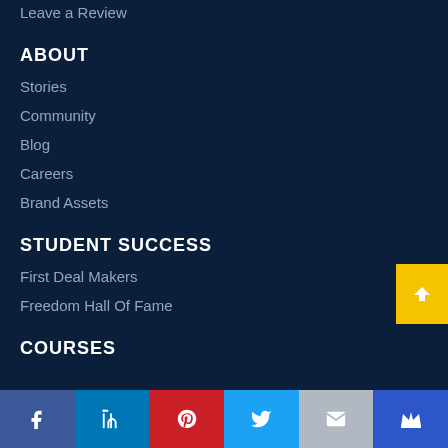Leave a Review
ABOUT
Stories
Community
Blog
Careers
Brand Assets
STUDENT SUCCESS
First Deal Makers
Freedom Hall Of Fame
COURSES
[Figure (infographic): Social media icon bar at the bottom with Facebook, LinkedIn, Pinterest, Twitter, Email, and a Crown icon]